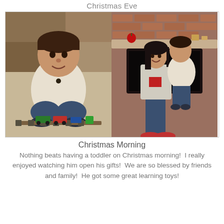Christmas Eve
[Figure (photo): Two photos side by side: left photo shows a young toddler boy in a cream cable-knit sweater sitting on the floor playing with toy trains on a wooden track; right photo shows a woman holding the same toddler boy, standing in front of a brick fireplace.]
Christmas Morning
Nothing beats having a toddler on Christmas morning!  I really enjoyed watching him open his gifts!  We are so blessed by friends and family!  He got some great learning toys!